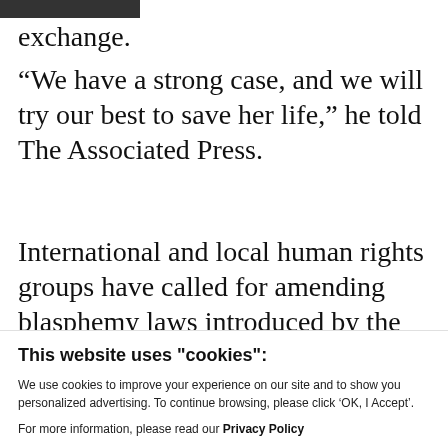exchange.
“We have a strong case, and we will try our best to save her life,” he told The Associated Press.
International and local human rights groups have called for amending blasphemy laws introduced by the military
This website uses "cookies":
We use cookies to improve your experience on our site and to show you personalized advertising. To continue browsing, please click ‘OK, I Accept’.
For more information, please read our Privacy Policy
Ok, I Accept